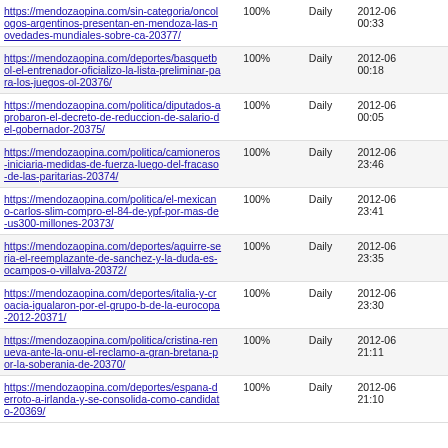| URL | Priority | Change Frequency | Last Modified |
| --- | --- | --- | --- |
| https://mendozaopina.com/sin-categoria/oncologos-argentinos-presentan-en-mendoza-las-novedades-mundiales-sobre-ca-20377/ | 100% | Daily | 2012-06 00:33 |
| https://mendozaopina.com/deportes/basquetbol-el-entrenador-oficializo-la-lista-preliminar-para-los-juegos-ol-20376/ | 100% | Daily | 2012-06 00:18 |
| https://mendozaopina.com/politica/diputados-aprobaron-el-decreto-de-reduccion-de-salario-del-gobernador-20375/ | 100% | Daily | 2012-06 00:05 |
| https://mendozaopina.com/politica/camioneros-iniciaria-medidas-de-fuerza-luego-del-fracaso-de-las-paritarias-20374/ | 100% | Daily | 2012-06 23:46 |
| https://mendozaopina.com/politica/el-mexicano-carlos-slim-compro-el-84-de-ypf-por-mas-de-us300-millones-20373/ | 100% | Daily | 2012-06 23:41 |
| https://mendozaopina.com/deportes/aguirre-seria-el-reemplazante-de-sanchez-y-la-duda-es-ocampos-o-villalva-20372/ | 100% | Daily | 2012-06 23:35 |
| https://mendozaopina.com/deportes/italia-y-croacia-igualaron-por-el-grupo-b-de-la-eurocopa-2012-20371/ | 100% | Daily | 2012-06 23:30 |
| https://mendozaopina.com/politica/cristina-renueva-ante-la-onu-el-reclamo-a-gran-bretana-por-la-soberania-de-20370/ | 100% | Daily | 2012-06 21:11 |
| https://mendozaopina.com/deportes/espana-derroto-a-irlanda-y-se-consolida-como-candidato-20369/ | 100% | Daily | 2012-06 21:10 |